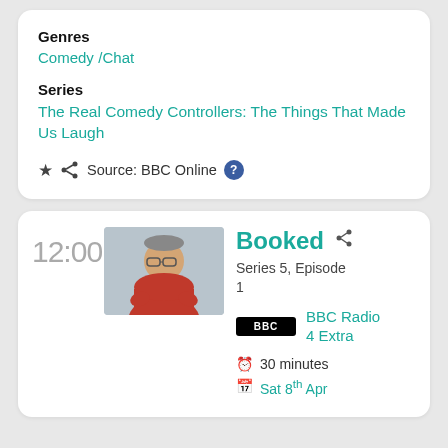Genres
Comedy / Chat
Series
The Real Comedy Controllers: The Things That Made Us Laugh
Source: BBC Online
12:00
[Figure (photo): Photo of a man in a red shirt with glasses, seated, against a grey background]
Booked
Series 5, Episode 1
BBC Radio 4 Extra
30 minutes
Sat 8th Apr